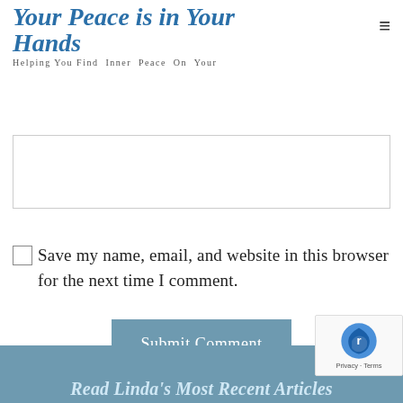Your Peace is in Your Hands – Helping You Find Inner Peace On Your
[Figure (screenshot): White text input box / comment textarea]
Save my name, email, and website in this browser for the next time I comment.
[Figure (other): Submit Comment button in steel blue]
Read Linda's Most Recent Articles
[Figure (other): reCAPTCHA badge with logo and Privacy - Terms text]